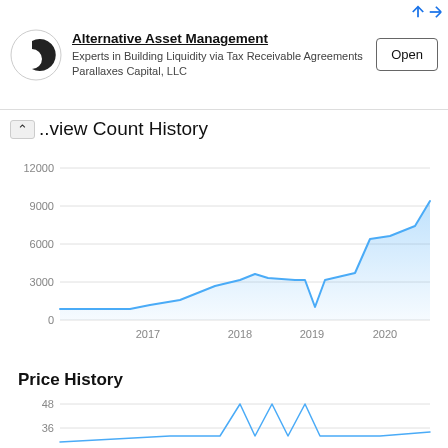[Figure (advertisement): Ad banner for Alternative Asset Management - Parallaxes Capital LLC. Logo of a circular P icon, title 'Alternative Asset Management', subtitle 'Experts in Building Liquidity via Tax Receivable Agreements Parallaxes Capital, LLC', and an Open button.]
Review Count History
[Figure (area-chart): Review Count History]
Price History
[Figure (line-chart): Price History]